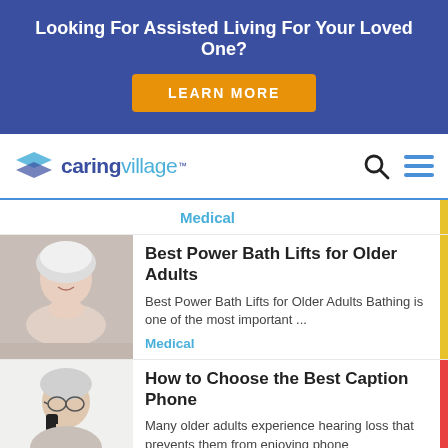Looking For Assisted Living For Your Loved One?
LEARN MORE
[Figure (logo): Caring Village logo with stylized book/layers icon and text 'caring village']
Medical
[Figure (photo): Elderly woman with white hair wrapped in towel, smiling, resting chin on hands]
Best Power Bath Lifts for Older Adults
Best Power Bath Lifts for Older Adults Bathing is one of the most important ...
Medical
[Figure (photo): Elderly man wearing glasses talking on phone]
How to Choose the Best Caption Phone
Many older adults experience hearing loss that prevents them from enjoying phone